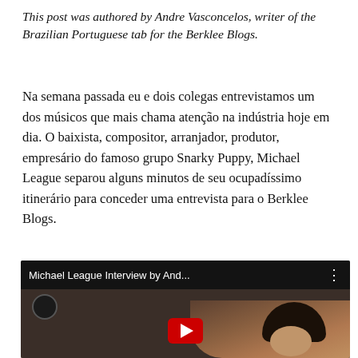This post was authored by Andre Vasconcelos, writer of the Brazilian Portuguese tab for the Berklee Blogs.
Na semana passada eu e dois colegas entrevistamos um dos músicos que mais chama atenção na indústria hoje em dia. O baixista, compositor, arranjador, produtor, empresário do famoso grupo Snarky Puppy, Michael League separou alguns minutos de seu ocupadíssimo itinerário para conceder uma entrevista para o Berklee Blogs.
[Figure (screenshot): Embedded YouTube video thumbnail showing 'Michael League Interview by And...' with a person visible in a dimly lit room and a YouTube play button]